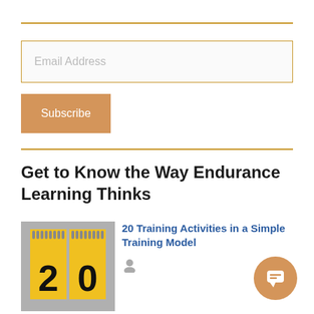[Figure (other): Horizontal gold/amber divider rule]
[Figure (other): Email address input field with placeholder text 'Email Address' and amber border]
[Figure (other): Orange Subscribe button]
[Figure (other): Horizontal gold/amber divider rule]
Get to Know the Way Endurance Learning Thinks
[Figure (photo): Two yellow spiral-bound notebooks showing the number '20']
20 Training Activities in a Simple Training Model